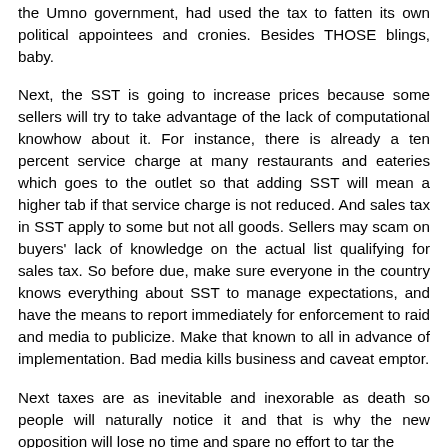the Umno government, had used the tax to fatten its own political appointees and cronies. Besides THOSE blings, baby.
Next, the SST is going to increase prices because some sellers will try to take advantage of the lack of computational knowhow about it. For instance, there is already a ten percent service charge at many restaurants and eateries which goes to the outlet so that adding SST will mean a higher tab if that service charge is not reduced. And sales tax in SST apply to some but not all goods. Sellers may scam on buyers' lack of knowledge on the actual list qualifying for sales tax. So before due, make sure everyone in the country knows everything about SST to manage expectations, and have the means to report immediately for enforcement to raid and media to publicize. Make that known to all in advance of implementation. Bad media kills business and caveat emptor.
Next taxes are as inevitable and inexorable as death so people will naturally notice it and that is why the new opposition will lose no time and spare no effort to tar the